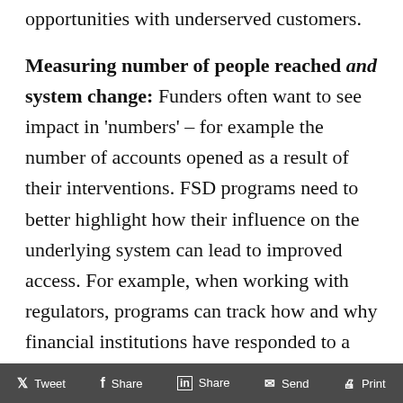opportunities with underserved customers.
Measuring number of people reached and system change:
Funders often want to see impact in ‘numbers’ – for example the number of accounts opened as a result of their interventions. FSD programs need to better highlight how their influence on the underlying system can lead to improved access. For example, when working with regulators, programs can track how and why financial institutions have responded to a change in the regulatory space, and how this has led to more or less financial access. But programs also need to also view and financial inclusion and
Tweet   Share   Share   Send   Print